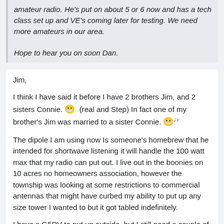amateur radio. He's put on about 5 or 6 now and has a tech class set up and VE's coming later for testing. We need more amateurs in our area.

Hope to hear you on soon Dan.
Jim,
I think I have said it before I have 2 brothers Jim, and 2 sisters Connie. 😬 (real and Step) In fact one of my brother's Jim was married to a sister Connie. 😬♩♪
The dipole I am using now Is someone's homebrew that he intended for shortwave listening it will handle the 100 watt max that my radio can put out. I live out in the boonies on 10 acres no homeowners association, however the township was looking at some restrictions to commercial antennas that might have curbed my ability to put up any size tower I wanted to but it got tabled indefinitely.
I have a G5RV to put up outside, but I still need a couple of sections of tower to get to 40 feet. Trying to save as much money I can and get it up right. My sister gave me a TV tower now I need a base and one